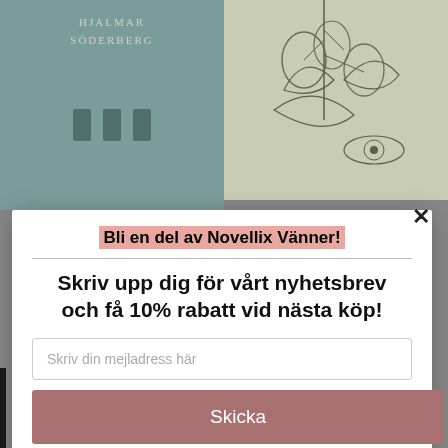[Figure (illustration): Two book covers side by side in background. Left: teal/sage green patterned cover with 'HJALMAR SÖDERBERG' text and small illustrated figures. Right: light botanical illustration cover with figs and leaves.]
Bli en del av Novellix Vänner!
Skriv upp dig för vårt nyhetsbrev och få 10% rabatt vid nästa köp!
Skriv din mejladress här
Skicka
powered by MailMunch